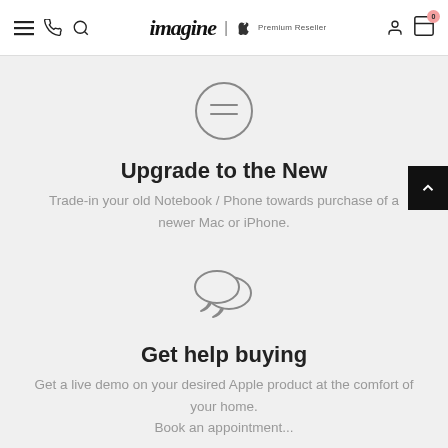imagine | Apple Premium Reseller — navigation bar with menu, phone, search, logo, account, cart (0)
[Figure (illustration): Circle icon with two horizontal lines inside (tag/label icon), gray stroke on light gray background]
Upgrade to the New
Trade-in your old Notebook / Phone towards purchase of a newer Mac or iPhone.
[Figure (illustration): Two speech bubble / chat icons overlapping, gray stroke on light gray background]
Get help buying
Get a live demo on your desired Apple product at the comfort of your home. Book an appointment...